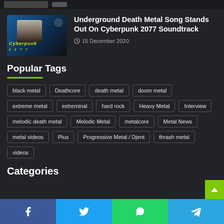[Figure (photo): Partial view of a top strip with a small thumbnail image]
[Figure (photo): Cyberpunk 2077 themed thumbnail showing a person with sunglasses and the Cyberpunk 2077 logo]
Underground Death Metal Song Stands Out On Cyberpunk 2077 Soundtrack
15 December 2020
Popular Tags
black metal
Deathcore
death metal
doom metal
extreme metal
extreminal
hard rock
Heavy Metal
Interview
melodic death metal
Melodic Metal
metalcore
Metal News
metal videos
Plus
Progressive Metal / Djent
thrash metal
videos
Categories